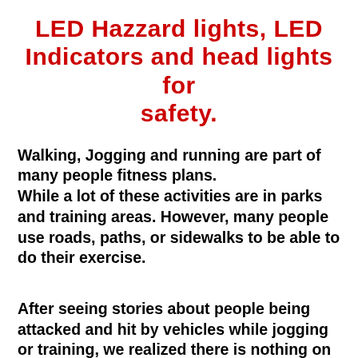LED Hazzard lights, LED Indicators and head lights for safety.
Walking, Jogging and running are part of many people fitness plans.
While a lot of these activities are in parks and training areas. However, many people use roads, paths, or sidewalks to be able to do their exercise.
After seeing stories about people being attacked and hit by vehicles while jogging or training, we realized there is nothing on the market to easily assist athletes or people maintaining their fitness.